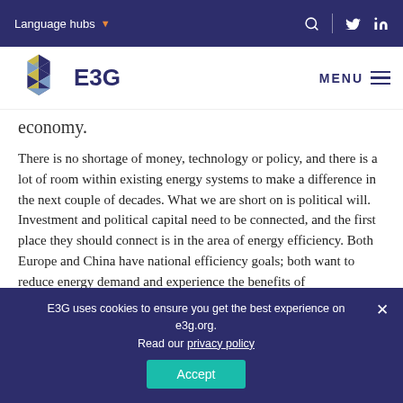Language hubs
[Figure (logo): E3G hexagonal logo with triangular segments in blue, yellow, and dark blue colors, with text 'E3G' beside it]
economy.
There is no shortage of money, technology or policy, and there is a lot of room within existing energy systems to make a difference in the next couple of decades. What we are short on is political will. Investment and political capital need to be connected, and the first place they should connect is in the area of energy efficiency. Both Europe and China have national efficiency goals; both want to reduce energy demand and experience the benefits of
E3G uses cookies to ensure you get the best experience on e3g.org. Read our privacy policy
Accept